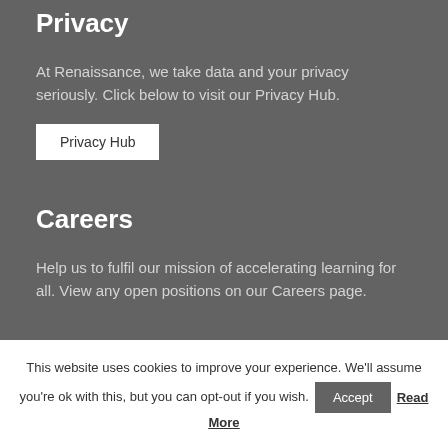Privacy
At Renaissance, we take data and your privacy seriously. Click below to visit our Privacy Hub.
Privacy Hub
Careers
Help us to fulfil our mission of accelerating learning for all. View any open positions on our Careers page.
This website uses cookies to improve your experience. We'll assume you're ok with this, but you can opt-out if you wish. Accept Read More